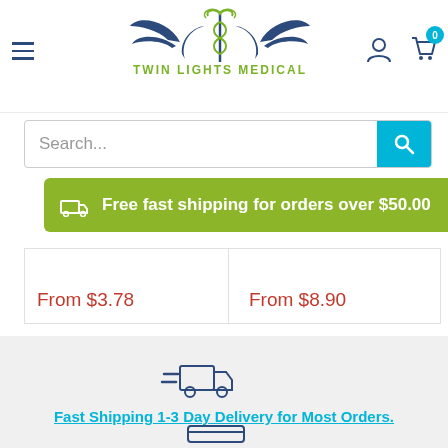[Figure (logo): Twin Lights Medical logo with caduceus symbol and wings in dark blue and green, text 'TWIN LIGHTS MEDICAL' in olive green]
Search...
Free fast shipping for orders over $50.00
sex K
From $3.78
From $8.90
[Figure (illustration): Fast shipping truck icon in dark navy blue outline style]
Fast Shipping 1-3 Day Delivery for Most Orders.
[Figure (illustration): Partial credit card icon at bottom, dark navy blue outline]